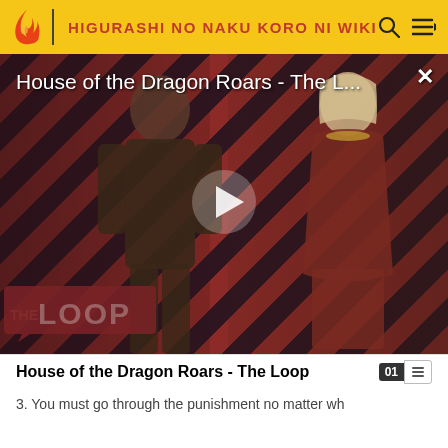HIGURASHI NO NAKU KORO NI WIKI
[Figure (screenshot): Video thumbnail for 'House of the Dragon Roars - The L...' showing two characters (armored figure and woman in period dress) against a red and dark diagonal stripe background with a play button in the center and 'THE LOOP' logo overlay at bottom left. A close (X) button is at top right.]
House of the Dragon Roars - The Loop
3. You must go through the punishment no matter wh